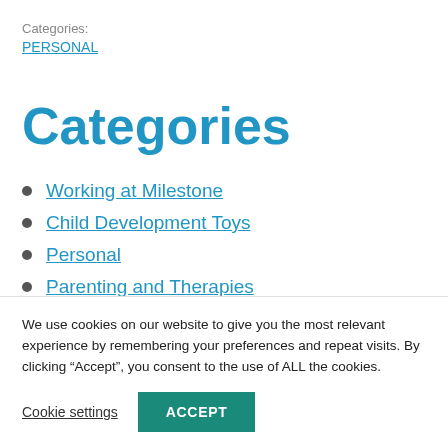Categories:
PERSONAL
Categories
Working at Milestone
Child Development Toys
Personal
Parenting and Therapies
Parenting
We use cookies on our website to give you the most relevant experience by remembering your preferences and repeat visits. By clicking “Accept”, you consent to the use of ALL the cookies.
Cookie settings   ACCEPT